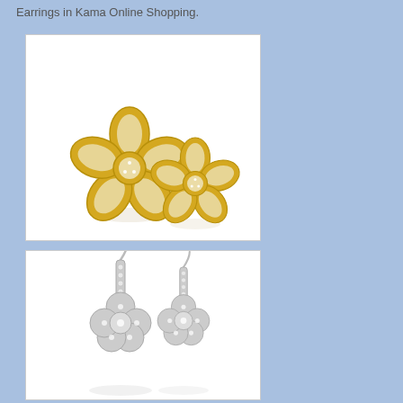Earrings in Kama Online Shopping.
[Figure (photo): Two gold flower-shaped stud earrings with diamond/crystal embellishments on a white background]
[Figure (photo): Two silver dangling flower earrings with crystal/diamond pave on a white background]